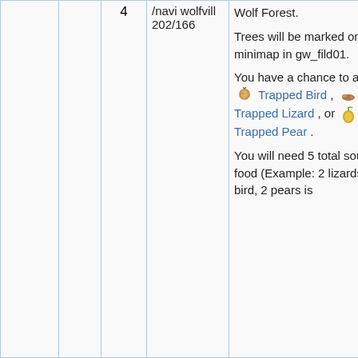|  | Step | Navigation | Description |  |
| --- | --- | --- | --- | --- |
|  | 4 | /navi wolfvill 202/166 | Wolf Forest.

Trees will be marked on your minimap in gw_fild01.

You have a chance to acquire [Trapped Bird], [Trapped Lizard], or [Trapped Pear].

You will need 5 total sources food (Example: 2 lizards, 1 bird, 2 pears is | 3 |